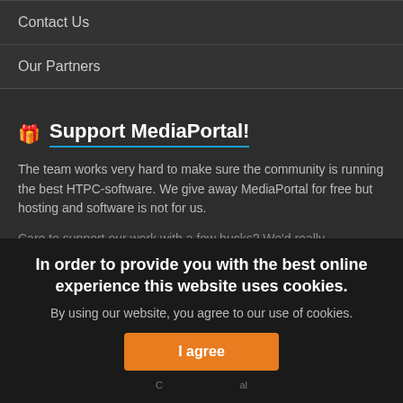Contact Us
Our Partners
Support MediaPortal!
The team works very hard to make sure the community is running the best HTPC-software. We give away MediaPortal for free but hosting and software is not for us.
Care to support our work with a few bucks? We'd really appreciate it!
In order to provide you with the best online experience this website uses cookies.
By using our website, you agree to our use of cookies.